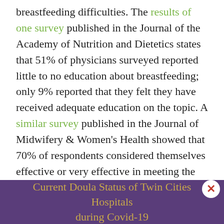breastfeeding difficulties. The results of one survey published in the Journal of the Academy of Nutrition and Dietetics states that 51% of physicians surveyed reported little to no education about breastfeeding; only 9% reported that they felt they have received adequate education on the topic. A similar survey published in the Journal of Midwifery & Women's Health showed that 70% of respondents considered themselves effective or very effective in meeting the needs of breastfeeding patients, but, still, they were less knowledgeable about specific management strategies. Birth and postpartum doulas who are certified by DONA are required to have approximately three hours of breastfeeding education, which—compared to the 1,000 hours of support some lactation consu...
Current Doula Status of Twin Cities Hospitals during Covid-19